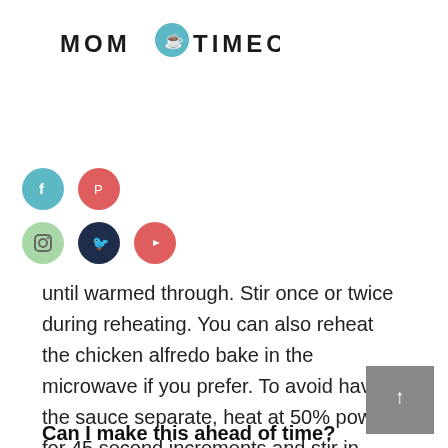[Figure (logo): Mom On Timeout blog logo with text and small pot/timer icon]
[Figure (infographic): Social media icon buttons: Facebook (teal), Pinterest (red), Instagram (light green), Twitter (dark navy), YouTube (red)]
until warmed through. Stir once or twice during reheating. You can also reheat the chicken alfredo bake in the microwave if you prefer. To avoid having the sauce separate, heat at 50% power for 45 second increments and stir in between each increment.
Can I make this ahead of time?